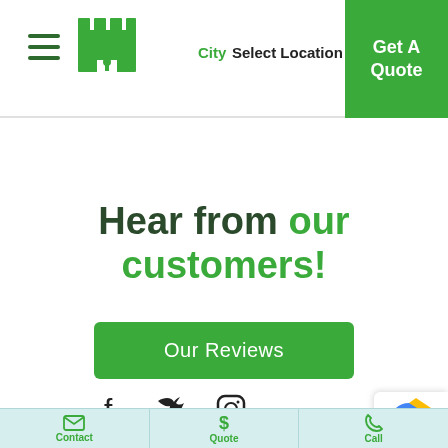City Select Location ▾ | Get A Quote
Hear from our customers!
Our Reviews
[Figure (other): Social media icons: Facebook, Twitter, Instagram]
Contact | Quote | Call